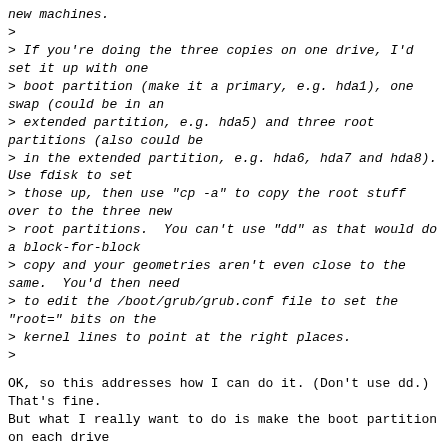new machines.
>
> If you're doing the three copies on one drive, I'd set it up with one
> boot partition (make it a primary, e.g. hda1), one swap (could be in an
> extended partition, e.g. hda5) and three root partitions (also could be
> in the extended partition, e.g. hda6, hda7 and hda8). Use fdisk to set
> those up, then use "cp -a" to copy the root stuff over to the three new
> root partitions.  You can't use "dd" as that would do a block-for-block
> copy and your geometries aren't even close to the same.  You'd then need
> to edit the /boot/grub/grub.conf file to set the "root=" bits on the
> kernel lines to point at the right places.
>
OK, so this addresses how I can do it. (Don't use dd.) That's fine.
But what I really want to do is make the boot partition on each drive
bootable, put grub on it and make the master boot records identical.
(I think.) Therefore my unclear question from before was really 'how
do I clone the boot partition on a working 8GB drive